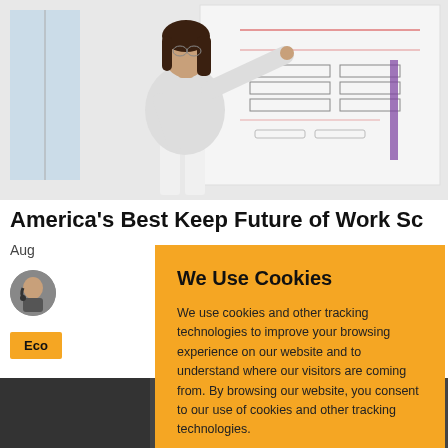[Figure (photo): Young woman pointing at content drawn on a large whiteboard in an office or classroom setting]
Am...ica's Best Keep Future of Work Sc...
Aug...
[Figure (photo): Small circular avatar photo of a woman with headset]
Eco...
We Use Cookies
We use cookies and other tracking technologies to improve your browsing experience on our website and to understand where our visitors are coming from. By browsing our website, you consent to our use of cookies and other tracking technologies.
[Figure (photo): Bottom partial photo strip]